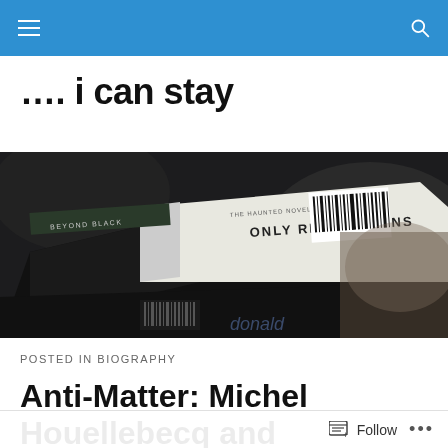Navigation bar with menu and search icons
…. i can stay
[Figure (photo): Close-up photo of stacked books, showing spines with titles 'BEYOND BLACK' and 'ONLY REVOLUTIONS' with barcodes visible, dark blurred background]
POSTED IN BIOGRAPHY
Anti-Matter: Michel Houellebecq and Depressive Realism by Ben Jeffery
Follow